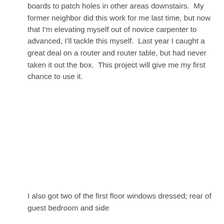boards to patch holes in other areas downstairs.  My former neighbor did this work for me last time, but now that I'm elevating myself out of novice carpenter to advanced, I'll tackle this myself.  Last year I caught a great deal on a router and router table, but had never taken it out the box.  This project will give me my first chance to use it.
I also got two of the first floor windows dressed; rear of guest bedroom and side